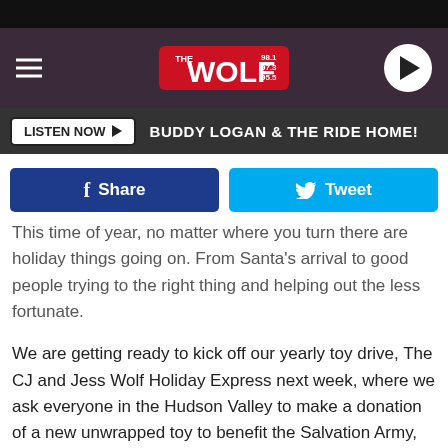[Figure (screenshot): The Wolf radio station website header with logo showing 98.1, 97.3, 95.5 frequencies on a dark wood-textured background with hamburger menu and play button]
LISTEN NOW ▶  BUDDY LOGAN & THE RIDE HOME!
[Figure (screenshot): Social sharing buttons: Facebook Share button (dark blue) and Twitter Tweet button (light blue)]
This time of year, no matter where you turn there are holiday things going on. From Santa's arrival to good people trying to the right thing and helping out the less fortunate.

We are getting ready to kick off our yearly toy drive, The CJ and Jess Wolf Holiday Express next week, where we ask everyone in the Hudson Valley to make a donation of a new unwrapped toy to benefit the Salvation Army, right here in the Hudson Valley.